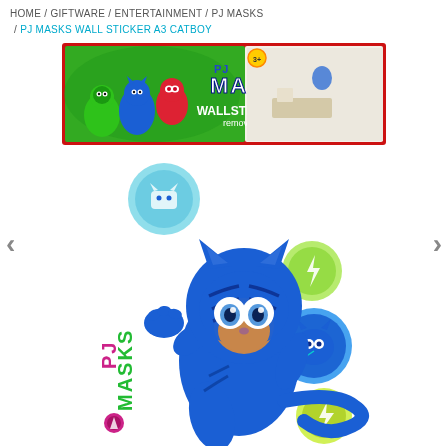HOME / GIFTWARE / ENTERTAINMENT / PJ MASKS / PJ MASKS WALL STICKER A3 CATBOY
[Figure (photo): PJ Masks Wall Sticker A3 Catboy product packaging banner showing PJ Masks characters and 'WALLSTICKERS removable' text with red border]
[Figure (photo): PJ Masks Wall Sticker sheet showing Catboy character in blue suit with cat ears, raising one hand, surrounded by circular icon stickers and PJ Masks logo, on white background]